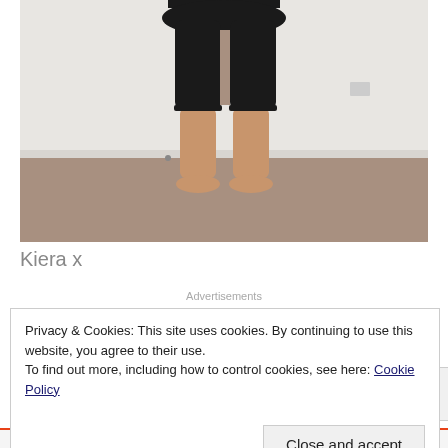[Figure (photo): Photo of a person from waist down wearing black capri leggings, standing barefoot on carpet in a room with white walls]
Kiera x
Advertisements
Privacy & Cookies: This site uses cookies. By continuing to use this website, you agree to their use.
To find out more, including how to control cookies, see here: Cookie Policy
Close and accept